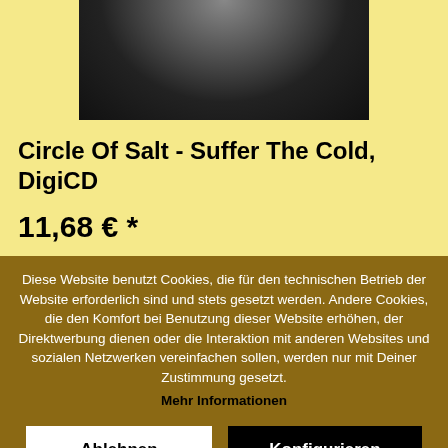[Figure (photo): Album cover image — dark grayscale photograph, partially visible at top of page]
Circle Of Salt - Suffer The Cold, DigiCD
11,68 € *
Diese Website benutzt Cookies, die für den technischen Betrieb der Website erforderlich sind und stets gesetzt werden. Andere Cookies, die den Komfort bei Benutzung dieser Website erhöhen, der Direktwerbung dienen oder die Interaktion mit anderen Websites und sozialen Netzwerken vereinfachen sollen, werden nur mit Deiner Zustimmung gesetzt.
Mehr Informationen
Ablehnen
Konfigurieren